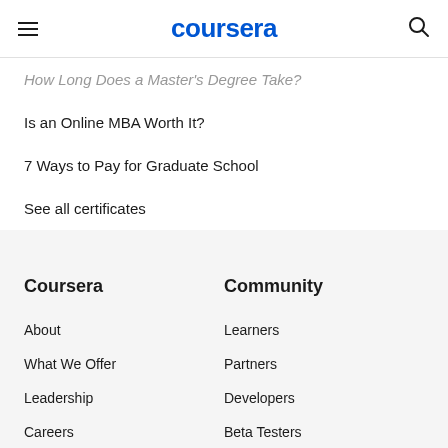coursera
How Long Does a Master's Degree Take?
Is an Online MBA Worth It?
7 Ways to Pay for Graduate School
See all certificates
Coursera
About
What We Offer
Leadership
Careers
Catalog
Coursera Plus
Community
Learners
Partners
Developers
Beta Testers
Translators
Blog